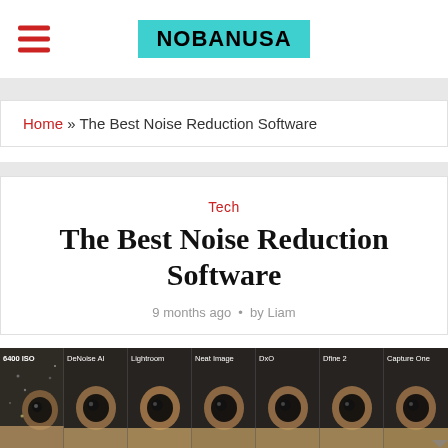NOBANUSA
Home » The Best Noise Reduction Software
Tech
The Best Noise Reduction Software
9 months ago • by Liam
[Figure (photo): Side-by-side photo comparison of noise reduction software results at 6400 ISO: original, DeNoise AI, Lightroom, Neat Image, DxO, Dfine 2, Capture One — showing close-up of a bird's eye and feathers.]